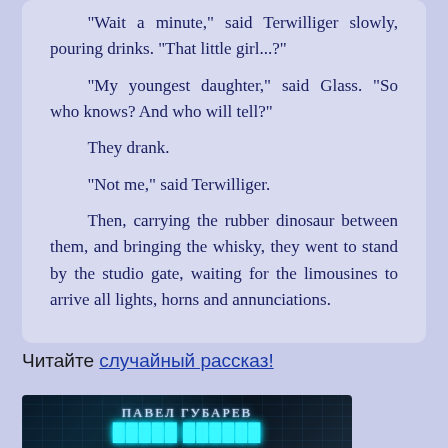"Wait a minute," said Terwilliger slowly, pouring drinks. "That little girl...?"

"My youngest daughter," said Glass. "So who knows? And who will tell?"

They drank.

"Not me," said Terwilliger.

Then, carrying the rubber dinosaur between them, and bringing the whisky, they went to stand by the studio gate, waiting for the limousines to arrive all lights, horns and annunciations.
Читайте случайный рассказ!
[Figure (illustration): Book cover image with dark teal background, grid overlay, author name 'ПАВЕЛ ГУБАРЕВ' and partially visible title text below.]